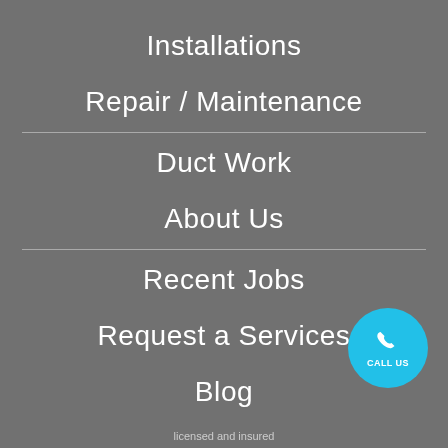Installations
Repair / Maintenance
Duct Work
About Us
Recent Jobs
Request a Services
Blog
[Figure (infographic): Cyan circular call-to-action button with phone icon and text 'CALL US']
licensed and insured